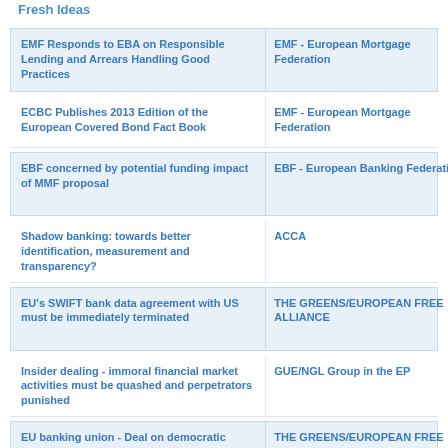Fresh Ideas
EMF Responds to EBA on Responsible Lending and Arrears Handling Good Practices | EMF - European Mortgage Federation
ECBC Publishes 2013 Edition of the European Covered Bond Fact Book | EMF - European Mortgage Federation
EBF concerned by potential funding impact of MMF proposal | EBF - European Banking Federation
Shadow banking: towards better identification, measurement and transparency? | ACCA
EU's SWIFT bank data agreement with US must be immediately terminated | THE GREENS/EUROPEAN FREE ALLIANCE
Insider dealing - immoral financial market activities must be quashed and perpetrators punished | GUE/NGL Group in the EP
EU banking union - Deal on democratic... | THE GREENS/EUROPEAN FREE...